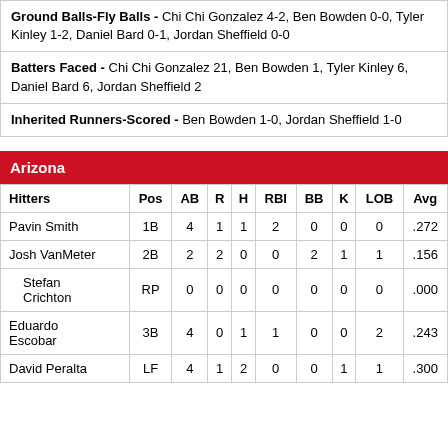| Ground Balls-Fly Balls - Chi Chi Gonzalez 4-2, Ben Bowden 0-0, Tyler Kinley 1-2, Daniel Bard 0-1, Jordan Sheffield 0-0 |
| Batters Faced - Chi Chi Gonzalez 21, Ben Bowden 1, Tyler Kinley 6, Daniel Bard 6, Jordan Sheffield 2 |
| Inherited Runners-Scored - Ben Bowden 1-0, Jordan Sheffield 1-0 |
Arizona
| Hitters | Pos | AB | R | H | RBI | BB | K | LOB | Avg |
| --- | --- | --- | --- | --- | --- | --- | --- | --- | --- |
| Pavin Smith | 1B | 4 | 1 | 1 | 2 | 0 | 0 | 0 | .272 |
| Josh VanMeter | 2B | 2 | 2 | 0 | 0 | 2 | 1 | 1 | .156 |
| Stefan Crichton | RP | 0 | 0 | 0 | 0 | 0 | 0 | 0 | .000 |
| Eduardo Escobar | 3B | 4 | 0 | 1 | 1 | 0 | 0 | 2 | .243 |
| David Peralta | LF | 4 | 1 | 2 | 0 | 0 | 1 | 1 | .300 |